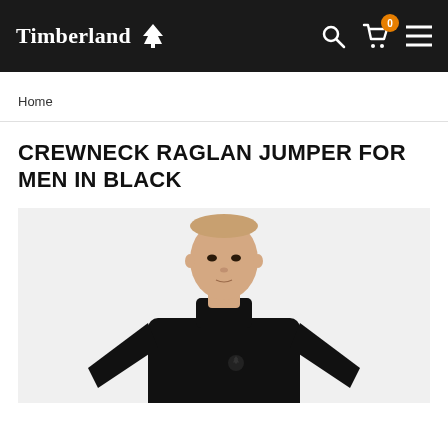Timberland
Home
CREWNECK RAGLAN JUMPER FOR MEN IN BLACK
[Figure (photo): Male model wearing a black crewneck raglan jumper, photographed from waist up against a light grey background]